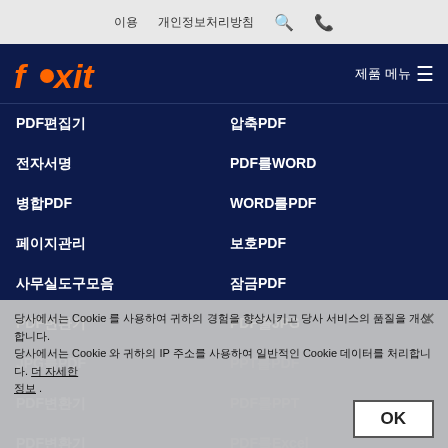이용 약관 | 개인정보처리방침 | 🔍 | 📞
[Figure (logo): Foxit logo in orange italic font with navigation bar on dark navy background]
PDF편집기 | 압축PDF
전자서명 | PDF를WORD
병합PDF | WORD를PDF
페이지관리 | 보호PDF
사무실도구모음 | 잠금PDF
PDF변환기 | PDF를JPG
JPG를PDF | PPT를PDF
PDF를PPT | PDF를Excel
당사에서는 Cookie 를 사용하여 귀하의 경험을 향상시키고 당사 서비스의 품질을 개선합니다. 당사에서는 Cookie 와 귀하의 IP 주소를 사용하여 일반적인 Cookie 데이터를 처리합니다. 더 자세한 정보 .